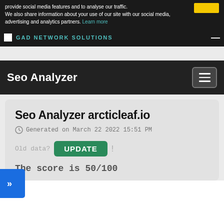provide social media features and to analyse our traffic. We also share information about your use of our site with our social media, advertising and analytics partners. Learn more
GaD Network Solutions
Seo Analyzer
Seo Analyzer arcticleaf.io
Generated on March 22 2022 15:51 PM
Old data? UPDATE !
The score is 50/100